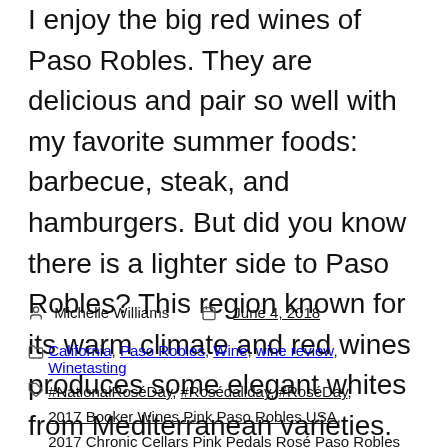I enjoy the big red wines of Paso Robles. They are delicious and pair so well with my favorite summer foods: barbecue, steak, and hamburgers. But did you know there is a lighter side to Paso Robles? This region known for its warm climate and red wines produces some elegant whites from Mediterranean varieties. Not [...]
Michelle Williams   June 4, 2018
California, Paso Robles, Wine, wine review, Winetasting
#NationalRoséDay, #Rosédallday, #RoséDay, 2017 Booker Wines Pink Paso Robles USA, 2017 Chronic Cellars Pink Pedals Rosé Paso Robles USA, 2017 Hearst Ranch Winery 'Julia' Rosé Wine Paso Robles USA, 2017 J Dusi Pinot Grigio Paso Robles USA, 2017 Opolo Vineyards Roussanne Paso Robles USA